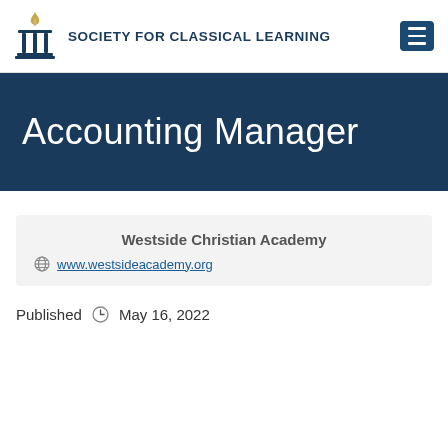SOCIETY FOR CLASSICAL LEARNING
Accounting Manager
Westside Christian Academy
www.westsideacademy.org
Published  May 16, 2022